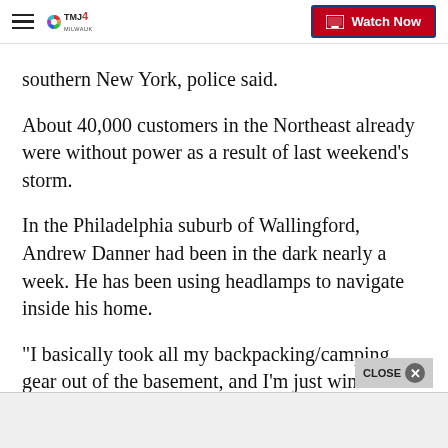WTMJ-TV MILWAUKEE — Watch Now
southern New York, police said.
About 40,000 customers in the Northeast already were without power as a result of last weekend's storm.
In the Philadelphia suburb of Wallingford, Andrew Danner had been in the dark nearly a week. He has been using headlamps to navigate inside his home.
"I basically took all my backpacking/camping gear out of the basement, and I'm just winter camping now," Danner said, according to CNN affiliate KYW. "I h…